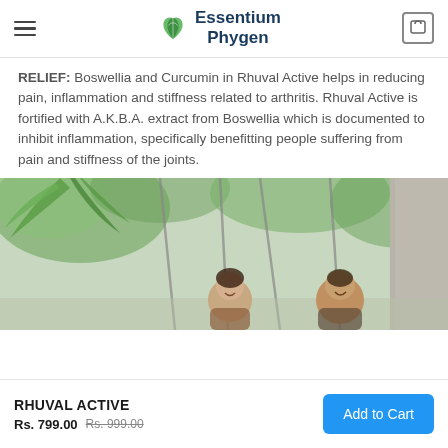Essentium Phygen
RELIEF: Boswellia and Curcumin in Rhuval Active helps in reducing pain, inflammation and stiffness related to arthritis. Rhuval Active is fortified with A.K.B.A. extract from Boswellia which is documented to inhibit inflammation, specifically benefitting people suffering from pain and stiffness of the joints.
[Figure (photo): Outdoor photo showing a middle-aged couple sitting on swings under palm trees and greenery, smiling.]
RHUVAL ACTIVE
Rs. 799.00  Rs. 999.00
Add to Cart